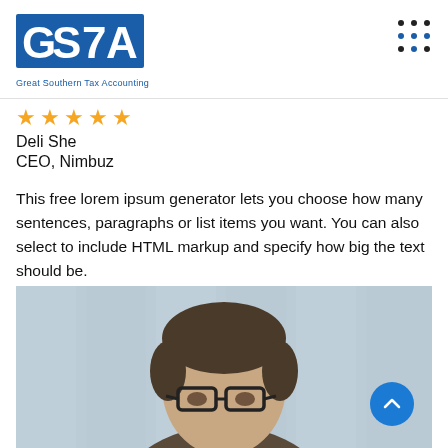[Figure (logo): GSA - Great Southern Tax Accounting logo in blue]
[Figure (other): 3x3 dot grid navigation icon]
[Figure (other): Five gold star rating]
Deli She
CEO, Nimbuz
This free lorem ipsum generator lets you choose how many sentences, paragraphs or list items you want. You can also select to include HTML markup and specify how big the text should be.
[Figure (photo): Portrait photo of a middle-aged man with dark hair wearing glasses, against a blurred building background]